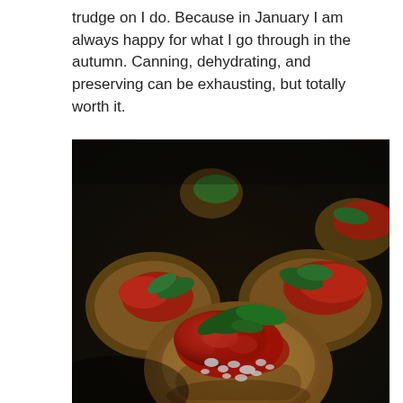trudge on I do. Because in January I am always happy for what I go through in the autumn. Canning, dehydrating, and preserving can be exhausting, but totally worth it.
[Figure (photo): Close-up food photograph of bruschetta: toasted bread rounds topped with sliced red tomatoes, fresh green basil leaves, and crumbled white cheese (feta), arranged on a dark surface. Multiple pieces visible with rich, vibrant colors.]